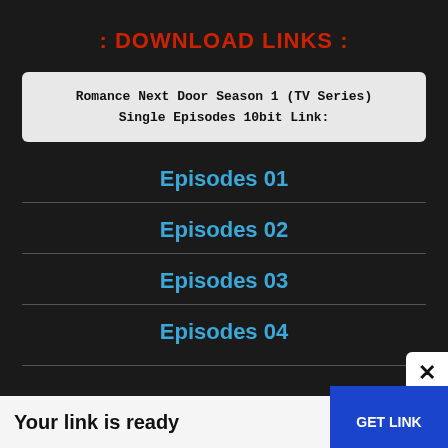: DOWNLOAD LINKS :
Romance Next Door Season 1 (TV Series)
Single Episodes 10bit Link:
Episodes 01
Episodes 02
Episodes 03
Episodes 04
Your link is ready
GET LINK